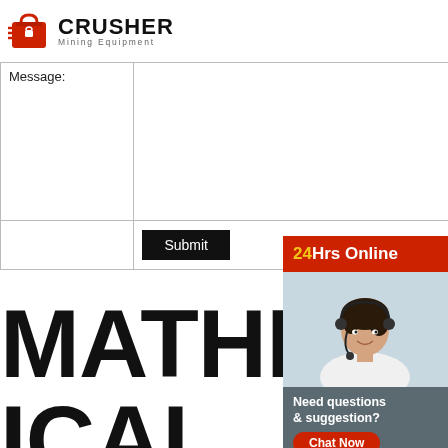[Figure (logo): Crusher Mining Equipment logo with red shopping bag icon and bold CRUSHER text]
| Message: |  |
|  | Submit |
MATHEMATICAL MODEL ACCORDING
[Figure (infographic): 24Hrs Online sidebar with customer service representative photo, Need questions & suggestion? Chat Now button, Enquiry section, and limingjlmofen@sina.com email]